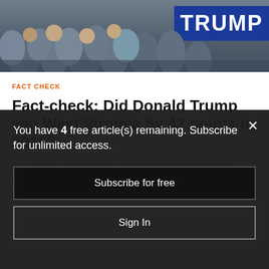[Figure (photo): Crowd at a political rally with a TRUMP campaign sign visible on the right side]
FACT CHECK
Fact-check: Did Donald Trump win West Virginia by 42 points in 2016?
At a rally in neighboring southwestern Pennsylvania, President Donald Trump trumpeted his wide 2016 presidential election victory in...
You have 4 free article(s) remaining. Subscribe for unlimited access.
Subscribe for free
Sign In